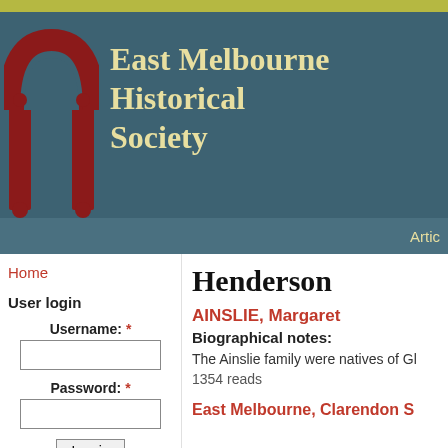East Melbourne Historical Society
Artic
Home
User login
Username: *
Password: *
Log in
Join EMHS
Request new password
Henderson
AINSLIE, Margaret
Biographical notes:
The Ainslie family were natives of Gl
1354 reads
East Melbourne, Clarendon S